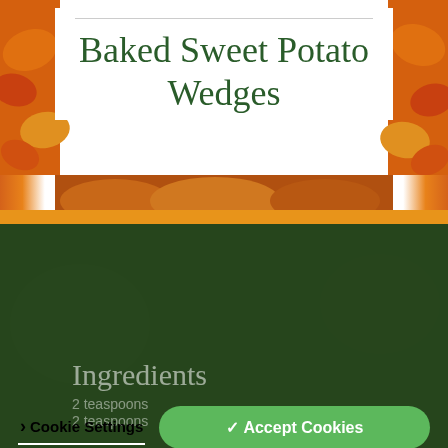Baked Sweet Potato Wedges
[Figure (photo): Autumn leaves background decorating the edges of a recipe page header]
We use cookies to personalise content and ads, to provide social media features and to analyse our traffic. We also share information about your use of our site with our social media, advertising and analytics partners. Cookie Policy
Ingredients
2 teaspoons
2 teaspoons
❯ Cookie Settings
✓ Accept Cookies